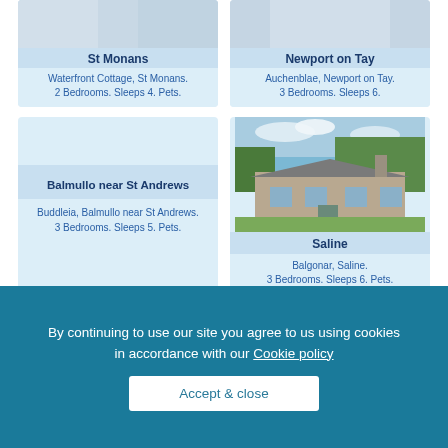[Figure (photo): Waterfront Cottage, St Monans – partial photo visible at top]
St Monans
Waterfront Cottage, St Monans. 2 Bedrooms. Sleeps 4. Pets.
[Figure (photo): Auchenblae, Newport on Tay – partial photo visible at top]
Newport on Tay
Auchenblae, Newport on Tay. 3 Bedrooms. Sleeps 6.
Balmullo near St Andrews
Buddleia, Balmullo near St Andrews. 3 Bedrooms. Sleeps 5. Pets.
[Figure (photo): Balgonar, Saline – stone cottage with trees and blue sky]
Saline
Balgonar, Saline. 3 Bedrooms. Sleeps 6. Pets.
Feeding will be information in Basket The picture of the
By continuing to use our site you agree to us using cookies in accordance with our Cookie policy
Accept & close